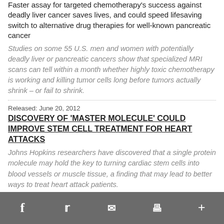Faster assay for targeted chemotherapy's success against deadly liver cancer saves lives, and could speed lifesaving switch to alternative drug therapies for well-known pancreatic cancer
Studies on some 55 U.S. men and women with potentially deadly liver or pancreatic cancers show that specialized MRI scans can tell within a month whether highly toxic chemotherapy is working and killing tumor cells long before tumors actually shrink – or fail to shrink.
Released: June 20, 2012
DISCOVERY OF 'MASTER MOLECULE' COULD IMPROVE STEM CELL TREATMENT FOR HEART ATTACKS
Johns Hopkins researchers have discovered that a single protein molecule may hold the key to turning cardiac stem cells into blood vessels or muscle tissue, a finding that may lead to better ways to treat heart attack patients.
Released: June 19, 2012
THE JOHNS HOPKINS UNIVERSITY AND FRAUNHOFER
f  Twitter  Email  Print  +